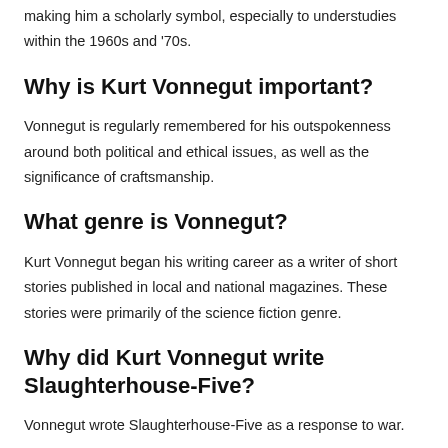making him a scholarly symbol, especially to understudies within the 1960s and '70s.
Why is Kurt Vonnegut important?
Vonnegut is regularly remembered for his outspokenness around both political and ethical issues, as well as the significance of craftsmanship.
What genre is Vonnegut?
Kurt Vonnegut began his writing career as a writer of short stories published in local and national magazines. These stories were primarily of the science fiction genre.
Why did Kurt Vonnegut write Slaughterhouse-Five?
Vonnegut wrote Slaughterhouse-Five as a response to war.